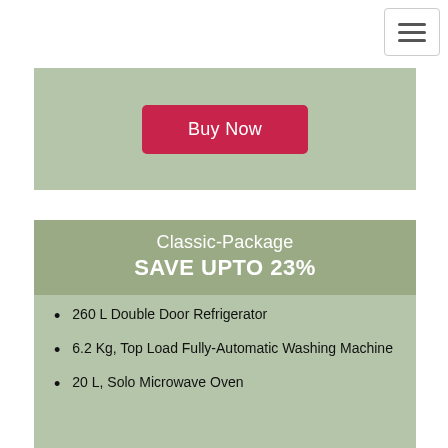[Figure (other): Hamburger menu icon (three horizontal lines) in a bordered box at top right]
[Figure (other): Sage green card with a Buy Now button in crimson/red]
Classic-Package
SAVE UPTO 23%
260 L Double Door Refrigerator
6.2 Kg, Top Load Fully-Automatic Washing Machine
20 L, Solo Microwave Oven